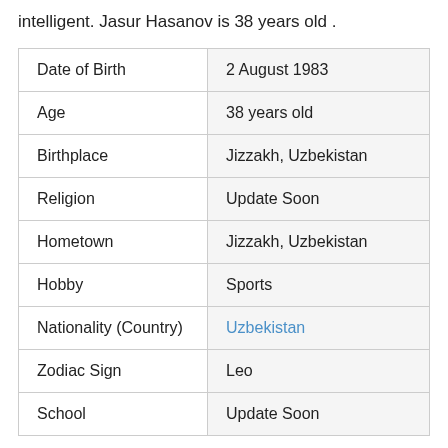intelligent. Jasur Hasanov is 38 years old .
| Date of Birth | 2 August 1983 |
| Age | 38 years old |
| Birthplace | Jizzakh, Uzbekistan |
| Religion | Update Soon |
| Hometown | Jizzakh, Uzbekistan |
| Hobby | Sports |
| Nationality (Country) | Uzbekistan |
| Zodiac Sign | Leo |
| School | Update Soon |